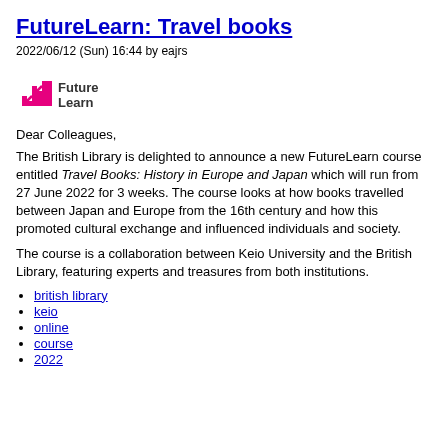FutureLearn: Travel books
2022/06/12 (Sun) 16:44 by eajrs
[Figure (logo): FutureLearn logo — pink staircase steps icon with 'Future Learn' text in dark grey]
Dear Colleagues,
The British Library is delighted to announce a new FutureLearn course entitled Travel Books: History in Europe and Japan which will run from 27 June 2022 for 3 weeks. The course looks at how books travelled between Japan and Europe from the 16th century and how this promoted cultural exchange and influenced individuals and society.
The course is a collaboration between Keio University and the British Library, featuring experts and treasures from both institutions.
british library
keio
online
course
2022